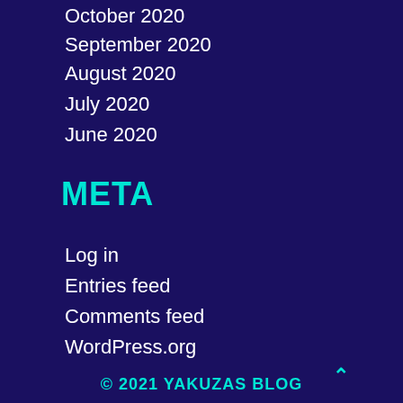October 2020
September 2020
August 2020
July 2020
June 2020
META
Log in
Entries feed
Comments feed
WordPress.org
© 2021 YAKUZAS BLOG